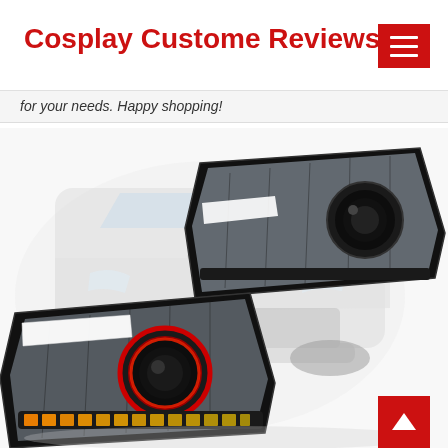Cosplay Custome Reviews
for your needs. Happy shopping!
[Figure (photo): Two custom aftermarket LED projector headlights for Mitsubishi Lancer/Evo X with red halo rings and amber sequential turn signals, shown against a background of a white Mitsubishi Lancer vehicle]